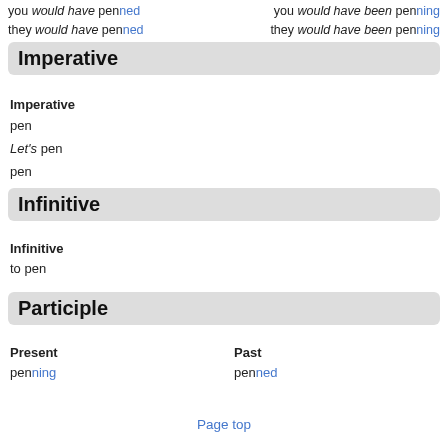you would have penned   you would have been penning
they would have penned   they would have been penning
Imperative
Imperative
pen
Let's pen
pen
Infinitive
Infinitive
to pen
Participle
Present   Past
penning   penned
Page top